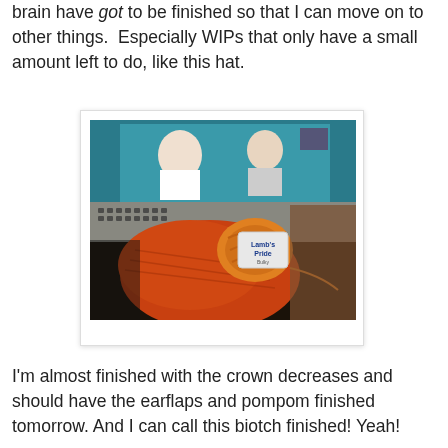brain have got to be finished so that I can move on to other things.  Especially WIPs that only have a small amount left to do, like this hat.
[Figure (photo): Photo of a partially knitted orange/red hat in progress with a ball of orange yarn and a Lamb's Pride yarn label, resting on a laptop keyboard with a TV screen visible in the background.]
I'm almost finished with the crown decreases and should have the earflaps and pompom finished tomorrow. And I can call this biotch finished! Yeah!